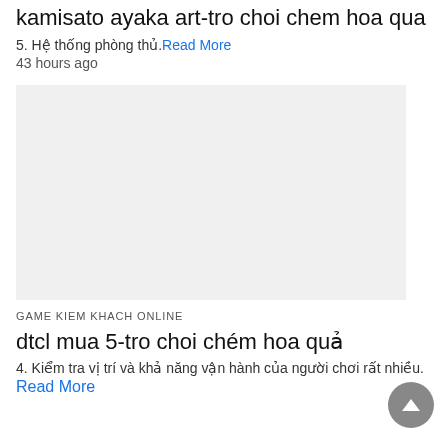kamisato ayaka art-tro choi chem hoa qua
5. Hệ thống phòng thủ. Read More
43 hours ago
[Figure (photo): Gray placeholder image block]
GAME KIEM KHACH ONLINE
dtcl mua 5-tro choi chém hoa quả
4. Kiểm tra vị trí và khả năng vận hành của người chơi rất nhiều. Read More